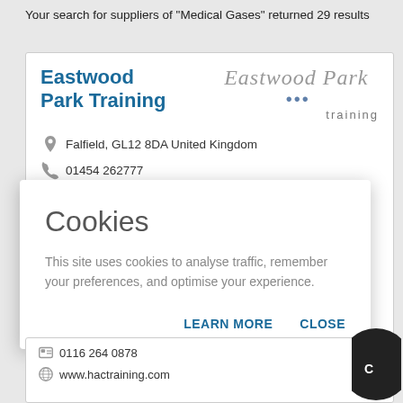Your search for suppliers of "Medical Gases" returned 29 results
Eastwood Park Training
Falfield, GL12 8DA United Kingdom
01454 262777
01454 262817
Cookies
This site uses cookies to analyse traffic, remember your preferences, and optimise your experience.
LEARN MORE   CLOSE
0116 264 0878
www.hactraining.com